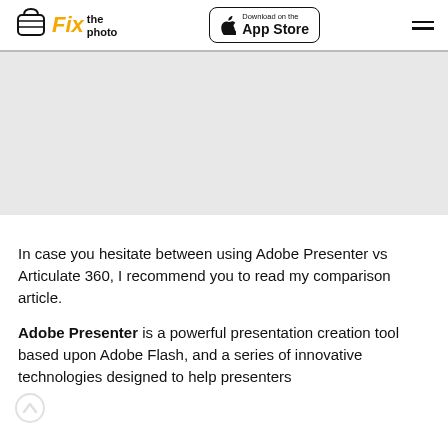Fix the photo | Download on the App Store
[Figure (illustration): Gray placeholder banner area below the navigation header]
In case you hesitate between using Adobe Presenter vs Articulate 360, I recommend you to read my comparison article.
Adobe Presenter is a powerful presentation creation tool based upon Adobe Flash, and a series of innovative technologies designed to help presenters